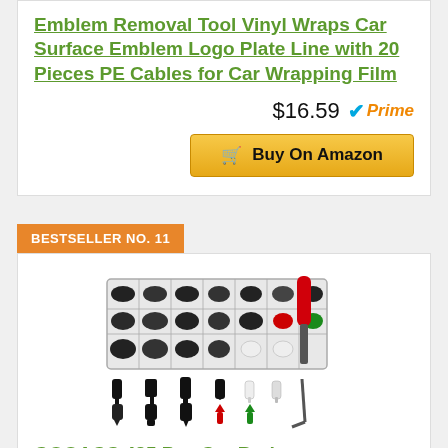Emblem Removal Tool Vinyl Wraps Car Surface Emblem Logo Plate Line with 20 Pieces PE Cables for Car Wrapping Film
$16.59
[Figure (logo): Amazon Prime checkmark and Prime text badge]
Buy On Amazon
BESTSELLER NO. 11
[Figure (photo): GOOACC 425 Pcs Car Body Push Retainer Pin Rivet Assortment Kit with plastic organizer box and pry tool, showing various clip types laid out below the box]
GOOACC 425 Pcs Car Body